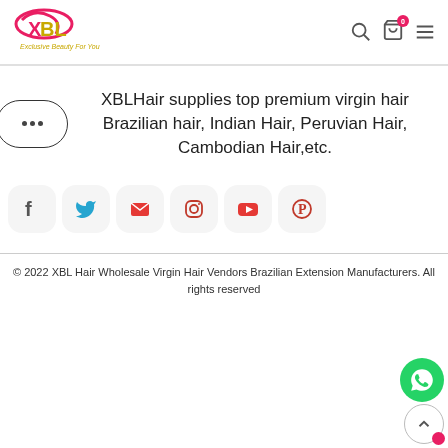[Figure (logo): XBL Hair logo with pink swoosh and yellow text reading 'Exclusive Beauty For You']
XBLHair supplies top premium virgin hair Brazilian hair, Indian Hair, Peruvian Hair, Cambodian Hair,etc.
[Figure (infographic): Social media icons row: Facebook, Twitter, Email/Envelope, Instagram, YouTube, Pinterest]
© 2022 XBL Hair Wholesale Virgin Hair Vendors Brazilian Extension Manufacturers. All rights reserved